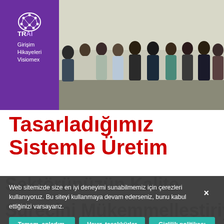[Figure (photo): Group photo of approximately 10 men standing in an office, with a purple sidebar on the left showing the TRAI logo and text 'Girişim Hikayeleri Visiomex']
Tasarladığımız Sistemle Üretim
Sektörünüzün Kalite Sürecini Mükemmelleştiriyoruz (background text, partially obscured)
Web sitemizde size en iyi deneyimi sunabilmemiz için çerezleri kullanıyoruz. Bu siteyi kullanmaya devam ederseniz, bunu kabul ettiğinizi varsayarız.
Tamam, anladım.
Hayır, teşekkürler
Gizlilik politikası